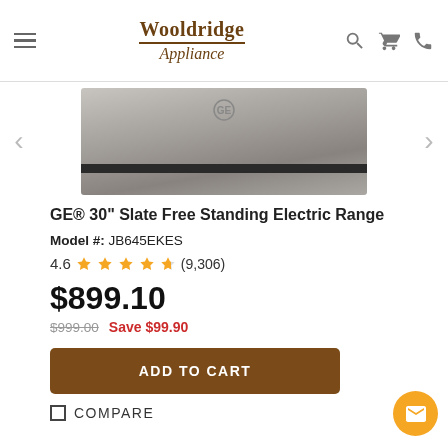Wooldridge Appliance
[Figure (photo): GE slate electric range cooktop/back panel view, grey-brown metallic finish]
GE® 30" Slate Free Standing Electric Range
Model #: JB645EKES
4.6 ★★★★★ (9,306)
$899.10
$999.00  Save $99.90
ADD TO CART
COMPARE